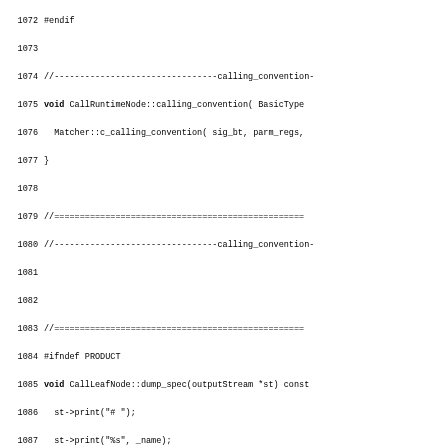[Figure (screenshot): Source code listing showing C++ code lines 1072-1102, with line numbers on the left and monospace code content on the right. The code includes CallRuntimeNode, CallLeafNode, and SafePointNode method implementations.]